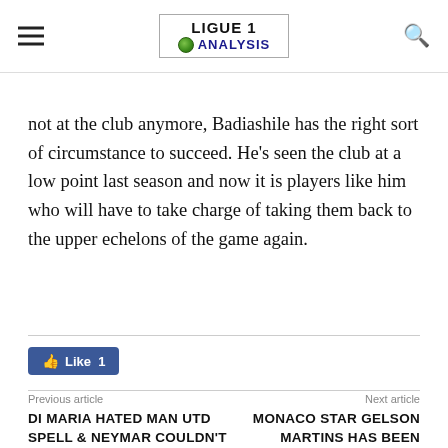LIGUE 1 ANALYSIS
not at the club anymore, Badiashile has the right sort of circumstance to succeed. He's seen the club at a low point last season and now it is players like him who will have to take charge of taking them back to the upper echelons of the game again.
[Figure (other): Facebook Like button showing 'Like 1']
Previous article
DI MARIA HATED MAN UTD SPELL & NEYMAR COULDN'T
Next article
MONACO STAR GELSON MARTINS HAS BEEN